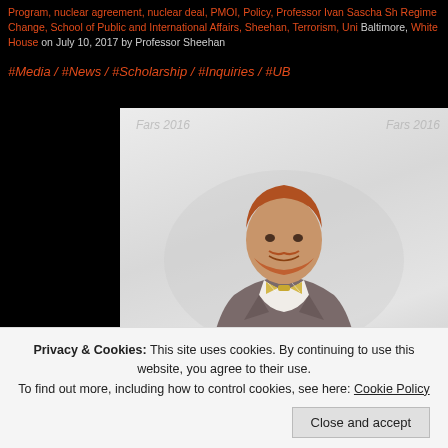Program, nuclear agreement, nuclear deal, PMOI, Policy, Professor Ivan Sascha Sh Regime Change, School of Public and International Affairs, Sheehan, Terrorism, Uni Baltimore, White House on July 10, 2017 by Professor Sheehan
#Media / #News / #Scholarship / #Inquiries / #UB
[Figure (photo): Man with red hair and beard wearing a grey suit jacket with a yellow and white striped bow tie, standing in front of a grey studio background with 'Fars 2016' watermarks visible. Cookie consent banner overlaid at bottom.]
Privacy & Cookies: This site uses cookies. By continuing to use this website, you agree to their use.
To find out more, including how to control cookies, see here: Cookie Policy
Close and accept